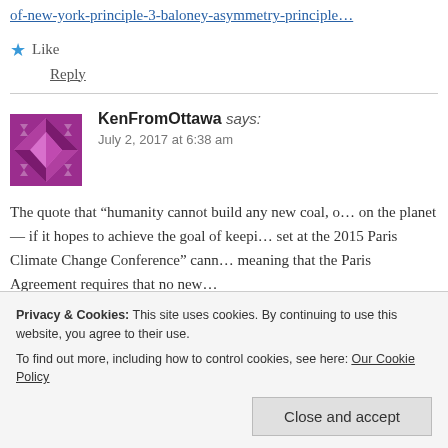https://…of-new-york-principle-3-baloney-asymmetry-principle (link, truncated)
Like
Reply
KenFromOttawa says: July 2, 2017 at 6:38 am
The quote that “humanity cannot build any new coal, o… on the planet — if it hopes to achieve the goal of keepi… set at the 2015 Paris Climate Change Conference” cann… meaning that the Paris Agreement requires that no new…
Privacy & Cookies: This site uses cookies. By continuing to use this website, you agree to their use.
To find out more, including how to control cookies, see here: Our Cookie Policy
Close and accept